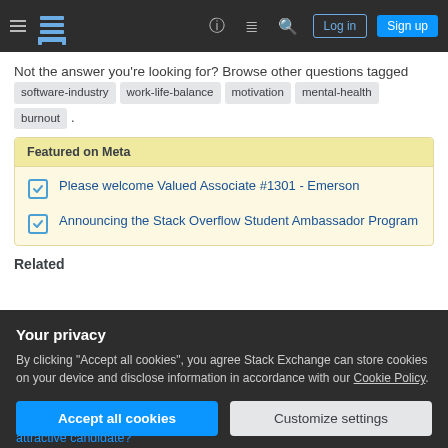Stack Overflow navigation bar with hamburger menu, logo, help, chat, search icons, Log in and Sign up buttons
Not the answer you're looking for? Browse other questions tagged software-industry work-life-balance motivation mental-health burnout .
Featured on Meta
Please welcome Valued Associate #1301 - Emerson
Announcing the Stack Overflow Student Ambassador Program
Related
Your privacy
By clicking "Accept all cookies", you agree Stack Exchange can store cookies on your device and disclose information in accordance with our Cookie Policy.
Accept all cookies  Customize settings
attractive candidate?